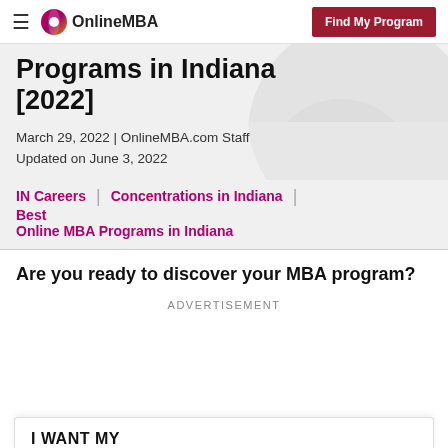OnlineMBA | Find My Program
Programs in Indiana [2022]
March 29, 2022 | OnlineMBA.com Staff
Updated on June 3, 2022
IN Careers | Concentrations in Indiana | Best Online MBA Programs in Indiana
Are you ready to discover your MBA program?
ADVERTISEMENT
I WANT MY